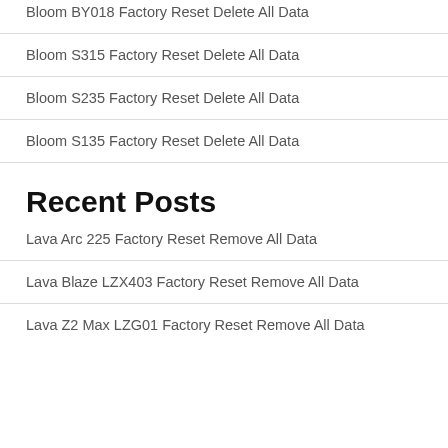Bloom BY018 Factory Reset Delete All Data
Bloom S315 Factory Reset Delete All Data
Bloom S235 Factory Reset Delete All Data
Bloom S135 Factory Reset Delete All Data
Recent Posts
Lava Arc 225 Factory Reset Remove All Data
Lava Blaze LZX403 Factory Reset Remove All Data
Lava Z2 Max LZG01 Factory Reset Remove All Data